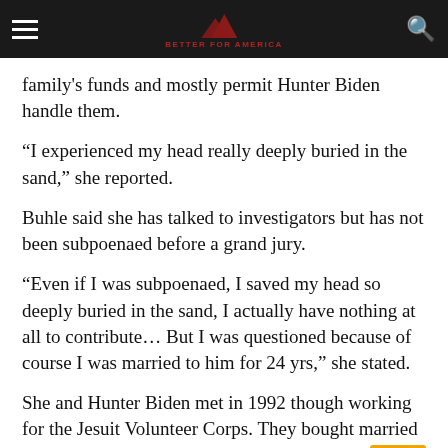[Site logo/navigation header]
family's funds and mostly permit Hunter Biden handle them.
“I experienced my head really deeply buried in the sand,” she reported.
Buhle said she has talked to investigators but has not been subpoenaed before a grand jury.
“Even if I was subpoenaed, I saved my head so deeply buried in the sand, I actually have nothing at all to contribute… But I was questioned because of course I was married to him for 24 yrs,” she stated.
She and Hunter Biden met in 1992 though working for the Jesuit Volunteer Corps. They bought married the upcoming 12 months and later on daughters — Naomi, Finnegan and Maisy.